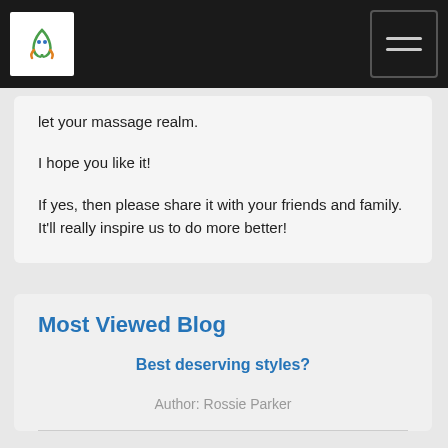[Navigation bar with logo and hamburger menu]
let your massage realm.
I hope you like it!
If yes, then please share it with your friends and family. It'll really inspire us to do more better!
Most Viewed Blog
Best deserving styles?
Author: Rossie Parker